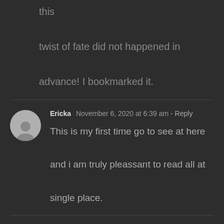this twist of fate did not happened in advance! I bookmarked it.
Ericka  November 6, 2020 at 6:39 am - Reply
This is my first time go to see at here and i am truly pleassant to read all at single place.
golden goose shoes  November 7, 2020 at 12:43 pm - Reply
I together with my guys were actually